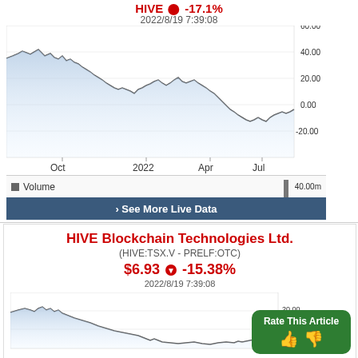2022/8/19 7:39:08
[Figure (continuous-plot): Stock price chart showing price from Oct 2021 to Jul 2022, starting around 40, peaking ~45, then declining to near 0, with a brief rise to ~20 in Apr, then falling back near 0 by Jul. Y-axis: -20.00 to 60.00. X-axis labels: Oct, 2022, Apr, Jul.]
Volume  40.00m
> See More Live Data
HIVE Blockchain Technologies Ltd.
(HIVE:TSX.V - PRELF:OTC)
$6.93 ▼ -15.38%
2022/8/19 7:39:08
Rate This Article
[Figure (continuous-plot): Partial stock price chart showing price declining from about 20 down to near 0, with slight uptick at end. Y-axis labels: 0.00, 10.00, 20.00 visible at right.]